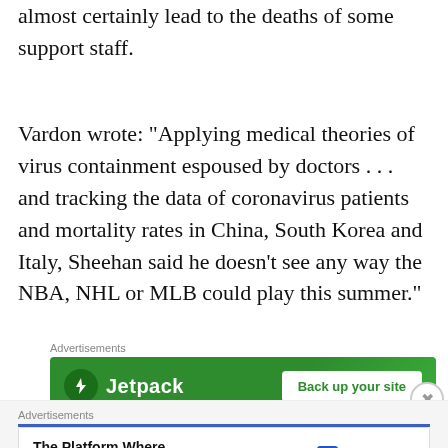almost certainly lead to the deaths of some support staff.
Vardon wrote: “Applying medical theories of virus containment espoused by doctors . . . and tracking the data of coronavirus patients and mortality rates in China, South Korea and Italy, Sheehan said he doesn’t see any way the NBA, NHL or MLB could play this summer.”
[Figure (other): Jetpack advertisement banner: green background with Jetpack logo and 'Back up your site' button]
[Figure (other): Pressable advertisement: 'The Platform Where WordPress Works Best' with Pressable logo]